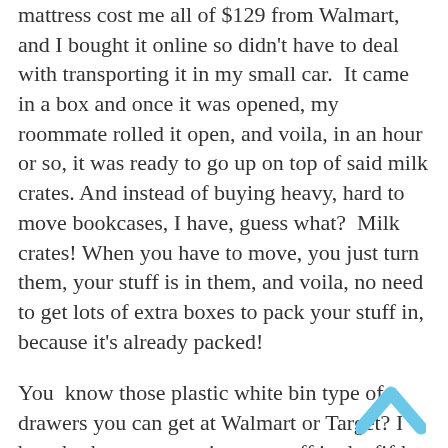mattress cost me all of $129 from Walmart, and I bought it online so didn't have to deal with transporting it in my small car.  It came in a box and once it was opened, my roommate rolled it open, and voila, in an hour or so, it was ready to go up on top of said milk crates.  And instead of buying heavy, hard to move bookcases, I have, guess what?  Milk crates!  When you have to move, you just turn them, your stuff is in them, and voila, no need to get lots of extra boxes to pack your stuff in, because it's already packed!
You  know those plastic white bin type of drawers you can get at Walmart or Target? I bought those to organize my stuff in the fifth wheel I owned in Utah.  Still got 'em.  The old me of several years ago would have gotten rid of them as soon as I could afford a nice